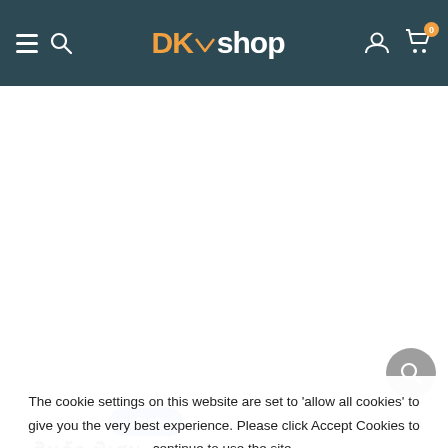DKshop navigation bar with hamburger menu, search, logo, account, and cart (0 items)
[Figure (screenshot): White content area — product page body, mostly blank/loading]
[Figure (other): Floating grey circular search button]
ละเอียด 10   + เพิ่มเติม
สินค้า พิเศษ สุด
The cookie settings on this website are set to 'allow all cookies' to give you the very best experience. Please click Accept Cookies to continue to use the site.
PRIVACY POLICY   ACCEPT ✔
2,500฿